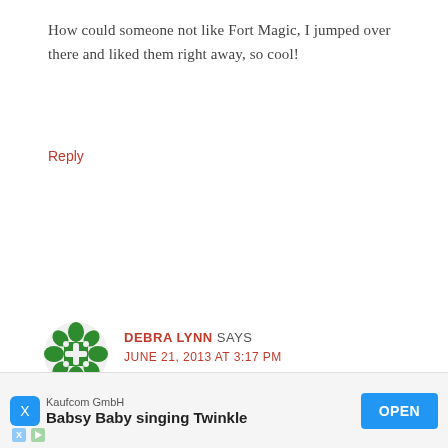How could someone not like Fort Magic, I jumped over there and liked them right away, so cool!
Reply
[Figure (illustration): Green decorative avatar icon with geometric cross/snowflake pattern]
DEBRA LYNN SAYS
JUNE 21, 2013 AT 3:17 PM
Liked you on fb as well!
Reply
[Figure (infographic): Advertisement banner: Kaufcom GmbH - Babsy Baby singing Twinkle - OPEN button]